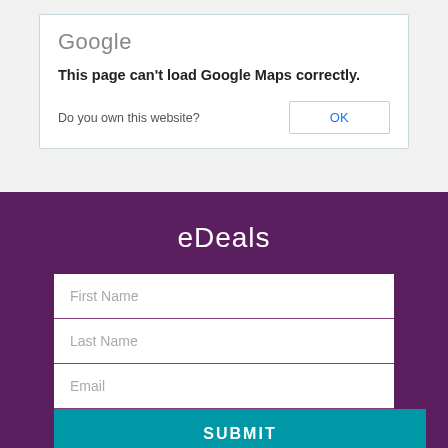[Figure (screenshot): Google Maps error dialog showing 'This page can't load Google Maps correctly.' with a 'Do you own this website?' question and an 'OK' button]
eDeals
First Name
Last Name
Email
SUBMIT